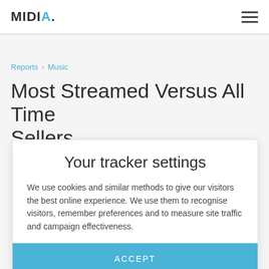MIDIA.
Reports › Music
Most Streamed Versus All Time Sellers
Your tracker settings
We use cookies and similar methods to give our visitors the best online experience. We use them to recognise visitors, remember preferences and to measure site traffic and campaign effectiveness.
ACCEPT